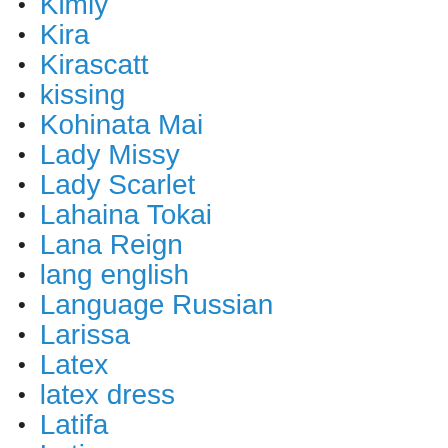Kimly
Kira
Kirascatt
kissing
Kohinata Mai
Lady Missy
Lady Scarlet
Lahaina Tokai
Lana Reign
lang english
Language Russian
Larissa
Latex
latex dress
Latifa
Latin
Latina